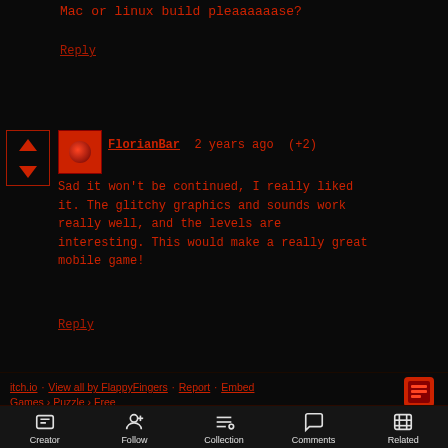Mac or linux build pleaaaaaase?
Reply
FlorianBar 2 years ago (+2)
Sad it won't be continued, I really liked it. The glitchy graphics and sounds work really well, and the levels are interesting. This would make a really great mobile game!
Reply
itch.io · View all by FlappyFingers · Report · Embed
Games › Puzzle › Free
Creator  Follow  Collection  Comments  Related